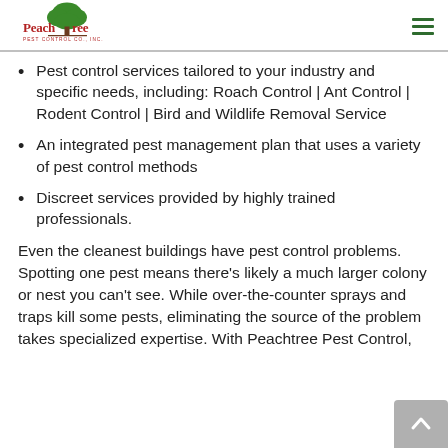Peachtree Pest Control Co., Inc.
Pest control services tailored to your industry and specific needs, including: Roach Control | Ant Control | Rodent Control | Bird and Wildlife Removal Service
An integrated pest management plan that uses a variety of pest control methods
Discreet services provided by highly trained professionals.
Even the cleanest buildings have pest control problems. Spotting one pest means there's likely a much larger colony or nest you can't see. While over-the-counter sprays and traps kill some pests, eliminating the source of the problem takes specialized expertise. With Peachtree Pest Control,